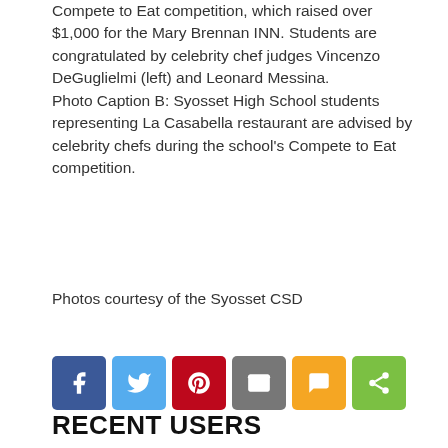Compete to Eat competition, which raised over $1,000 for the Mary Brennan INN. Students are congratulated by celebrity chef judges Vincenzo DeGuglielmi (left) and Leonard Messina. Photo Caption B: Syosset High School students representing La Casabella restaurant are advised by celebrity chefs during the school's Compete to Eat competition.
Photos courtesy of the Syosset CSD
[Figure (infographic): Social share buttons: Facebook (blue), Twitter (light blue), Pinterest (red), Email (grey), SMS (yellow/orange), Share (green)]
RECENT USERS